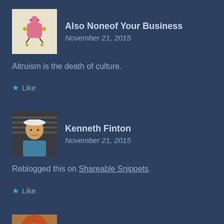Also Noneof Your Business
November 21, 2015
Altruism is the death of culture.
Like
Kenneth Finton
November 21, 2015
Reblogged this on Shareable Snippets.
Like
Anxious Mom
November 21, 2015